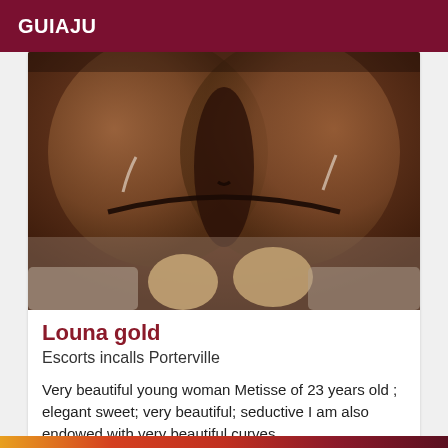GUIAJU
[Figure (photo): Close-up photo of a person in dark lingerie on a bed]
Louna gold
Escorts incalls Porterville
Very beautiful young woman Metisse of 23 years old ; elegant sweet; very beautiful; seductive I am also endowed with very beautiful curves